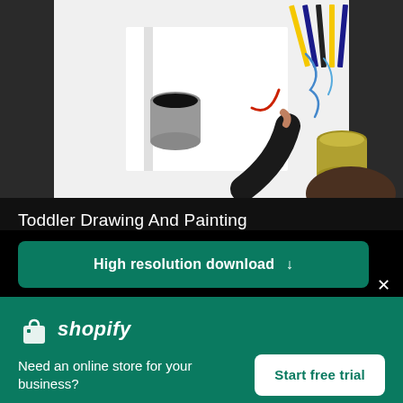[Figure (photo): Overhead view of a toddler drawing and painting at a white table, with cups of paint/water, colored pencils, and a sketchbook visible.]
Toddler Drawing And Painting
High resolution download ↓
[Figure (logo): Shopify logo — shopping bag icon and italic 'shopify' text in white]
Need an online store for your business?
Start free trial